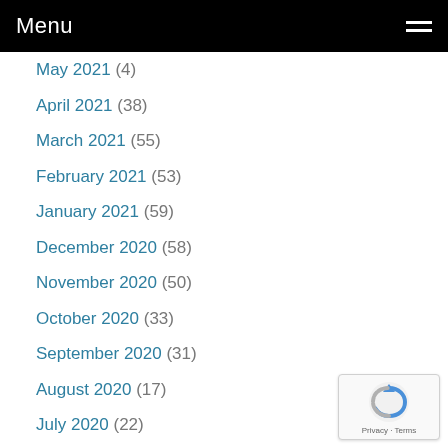Menu
May 2021 (4)
April 2021 (38)
March 2021 (55)
February 2021 (53)
January 2021 (59)
December 2020 (58)
November 2020 (50)
October 2020 (33)
September 2020 (31)
August 2020 (17)
July 2020 (22)
June 2020 (12)
May 2020 (48)
April 2020 (48)